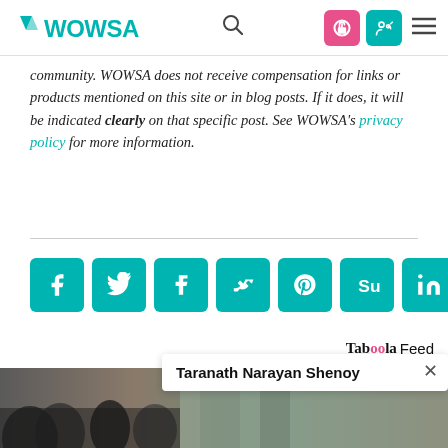WOWSA [search icon] [lock icon] [user icon] [menu icon]
community. WOWSA does not receive compensation for links or products mentioned on this site or in blog posts. If it does, it will be indicated clearly on that specific post. See WOWSA's privacy policy for more information.
[Figure (other): Social sharing buttons: Facebook, Twitter, Tumblr, VK, Pinterest, StumbleUpon, LinkedIn, WhatsApp — all in teal/green color]
Tab00la Feed
[Figure (photo): Bottom image strip showing people outdoors, partially visible]
Taranath Narayan Shenoy